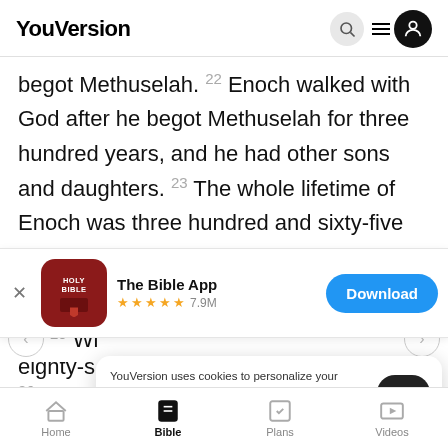YouVersion
begot Methuselah. 22 Enoch walked with God after he begot Methuselah for three hundred years, and he had other sons and daughters. 23 The whole lifetime of Enoch was three hundred and sixty-five
[Figure (screenshot): The Bible App download banner with app icon (Holy Bible), 5-star rating, 7.9M reviews, and Download button]
YouVersion uses cookies to personalize your experience. By using our website, you accept our use of cookies as described in our Privacy Policy.
Home | Bible | Plans | Videos